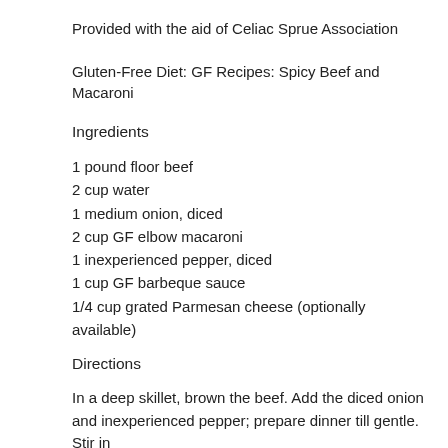Provided with the aid of Celiac Sprue Association
Gluten-Free Diet: GF Recipes: Spicy Beef and Macaroni
Ingredients
1 pound floor beef
2 cup water
1 medium onion, diced
2 cup GF elbow macaroni
1 inexperienced pepper, diced
1 cup GF barbeque sauce
1/4 cup grated Parmesan cheese (optionally available)
Directions
In a deep skillet, brown the beef. Add the diced onion and inexperienced pepper; prepare dinner till gentle. Stir in